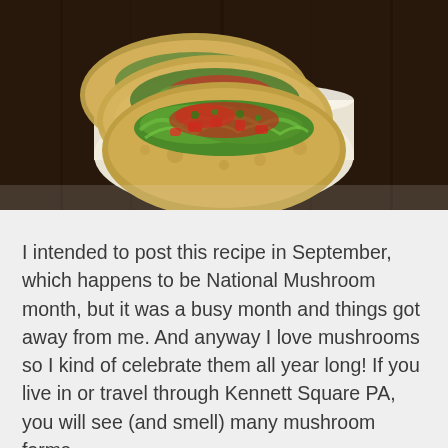[Figure (photo): Overhead photo of three tacos in a white paper boat/tray, filled with lettuce, diced tomatoes, salsa, and other toppings, on a dark brown wooden surface.]
I intended to post this recipe in September, which happens to be National Mushroom month, but it was a busy month and things got away from me. And anyway I love mushrooms so I kind of celebrate them all year long! If you live in or travel through Kennett Square PA, you will see (and smell) many mushroom farms,